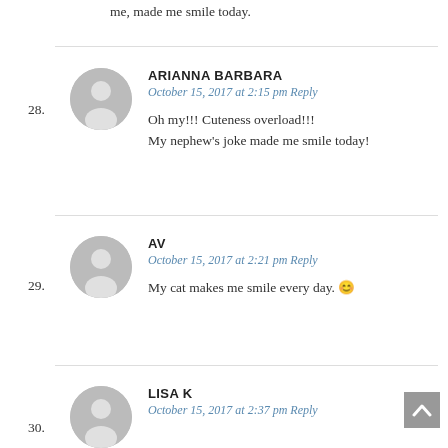me, made me smile today.
ARIANNA BARBARA
October 15, 2017 at 2:15 pm Reply

Oh my!!! Cuteness overload!!!
My nephew's joke made me smile today!
28.
AV
October 15, 2017 at 2:21 pm Reply

My cat makes me smile every day. 🙂
29.
LISA K
October 15, 2017 at 2:37 pm Reply
30.